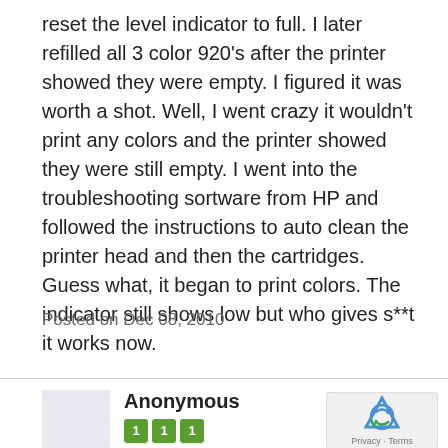reset the level indicator to full. I later refilled all 3 color 920's after the printer showed they were empty. I figured it was worth a shot. Well, I went crazy it wouldn't print any colors and the printer showed they were still empty. I went into the troubleshooting sortware from HP and followed the instructions to auto clean the printer head and then the cartridges. Guess what, it began to print colors. The indicator still shows low but who gives s**t it works now.
Posted on Dec 08, 2010
Anonymous
Contributor • 2 Answers